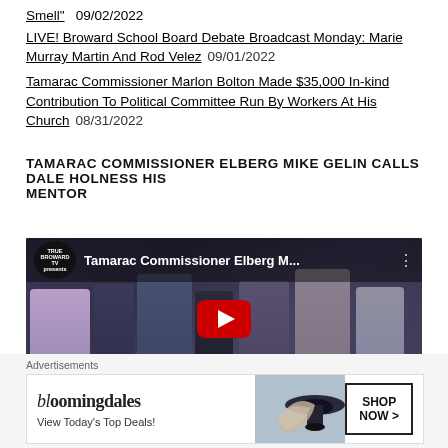Smell”  09/02/2022
LIVE! Broward School Board Debate Broadcast Monday: Marie Murray Martin And Rod Velez  09/01/2022
Tamarac Commissioner Marlon Bolton Made $35,000 In-kind Contribution To Political Committee Run By Workers At His Church  08/31/2022
TAMARAC COMMISSIONER ELBERG MIKE GELIN CALLS DALE HOLNESS HIS MENTOR
[Figure (screenshot): YouTube video embed showing 'Tamarac Commissioner Elberg M...' from True Broward TV presents channel, with crowd of people in background and YouTube play button overlay]
[Figure (screenshot): Bloomingdale's advertisement banner: 'View Today's Top Deals!' with SHOP NOW button and woman in hat image]